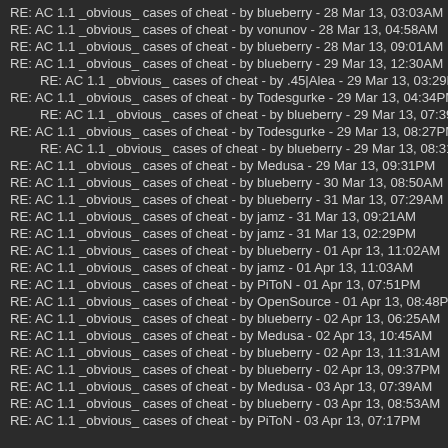RE: AC 1.1 _obvious_ cases of cheat - by blueberry - 28 Mar 13, 03:03AM
RE: AC 1.1 _obvious_ cases of cheat - by vonunov - 28 Mar 13, 04:58AM
RE: AC 1.1 _obvious_ cases of cheat - by blueberry - 28 Mar 13, 09:01AM
RE: AC 1.1 _obvious_ cases of cheat - by blueberry - 29 Mar 13, 12:30AM
RE: AC 1.1 _obvious_ cases of cheat - by .45|Alea - 29 Mar 13, 03:29PM
RE: AC 1.1 _obvious_ cases of cheat - by Todesgurke - 29 Mar 13, 04:34PM
RE: AC 1.1 _obvious_ cases of cheat - by blueberry - 29 Mar 13, 07:39PM
RE: AC 1.1 _obvious_ cases of cheat - by Todesgurke - 29 Mar 13, 08:27PM
RE: AC 1.1 _obvious_ cases of cheat - by blueberry - 29 Mar 13, 08:31PM
RE: AC 1.1 _obvious_ cases of cheat - by Medusa - 29 Mar 13, 09:31PM
RE: AC 1.1 _obvious_ cases of cheat - by blueberry - 30 Mar 13, 08:50AM
RE: AC 1.1 _obvious_ cases of cheat - by blueberry - 31 Mar 13, 07:29AM
RE: AC 1.1 _obvious_ cases of cheat - by jamz - 31 Mar 13, 09:21AM
RE: AC 1.1 _obvious_ cases of cheat - by jamz - 31 Mar 13, 02:29PM
RE: AC 1.1 _obvious_ cases of cheat - by blueberry - 01 Apr 13, 11:02AM
RE: AC 1.1 _obvious_ cases of cheat - by jamz - 01 Apr 13, 11:03AM
RE: AC 1.1 _obvious_ cases of cheat - by PiToN - 01 Apr 13, 07:51PM
RE: AC 1.1 _obvious_ cases of cheat - by OpenSource - 01 Apr 13, 08:48PM
RE: AC 1.1 _obvious_ cases of cheat - by blueberry - 02 Apr 13, 06:25AM
RE: AC 1.1 _obvious_ cases of cheat - by Medusa - 02 Apr 13, 10:45AM
RE: AC 1.1 _obvious_ cases of cheat - by blueberry - 02 Apr 13, 11:31AM
RE: AC 1.1 _obvious_ cases of cheat - by blueberry - 02 Apr 13, 09:37PM
RE: AC 1.1 _obvious_ cases of cheat - by Medusa - 03 Apr 13, 07:39AM
RE: AC 1.1 _obvious_ cases of cheat - by blueberry - 03 Apr 13, 08:53AM
RE: AC 1.1 _obvious_ cases of cheat - by PiToN - 03 Apr 13, 07:17PM